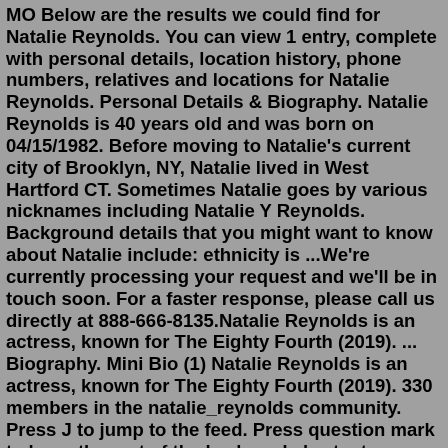MO Below are the results we could find for Natalie Reynolds. You can view 1 entry, complete with personal details, location history, phone numbers, relatives and locations for Natalie Reynolds. Personal Details & Biography. Natalie Reynolds is 40 years old and was born on 04/15/1982. Before moving to Natalie's current city of Brooklyn, NY, Natalie lived in West Hartford CT. Sometimes Natalie goes by various nicknames including Natalie Y Reynolds. Background details that you might want to know about Natalie include: ethnicity is ...We're currently processing your request and we'll be in touch soon. For a faster response, please call us directly at 888-666-8135.Natalie Reynolds is an actress, known for The Eighty Fourth (2019). ... Biography. Mini Bio (1) Natalie Reynolds is an actress, known for The Eighty Fourth (2019). 330 members in the natalie_reynolds community. Press J to jump to the feed. Press question mark to learn the rest of the keyboard shortcuts. Natalie Reynolds is an actress, known for The Eighty Fourth (2019). ... Biography. Mini Bio (1)